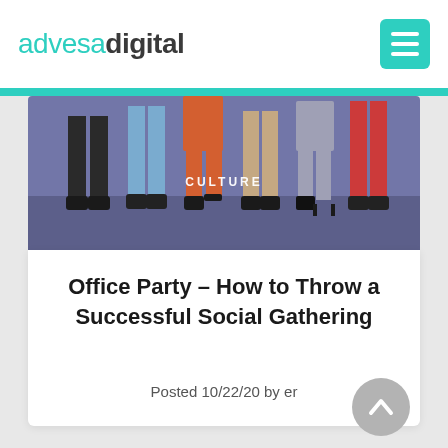advesadigital
[Figure (illustration): Illustration of people's legs from the waist down, walking on a dark purple/blue floor. Multiple characters in various colored pants and skirts. The word CULTURE appears overlaid in white capital letters.]
Office Party – How to Throw a Successful Social Gathering
Posted 10/22/20 by er